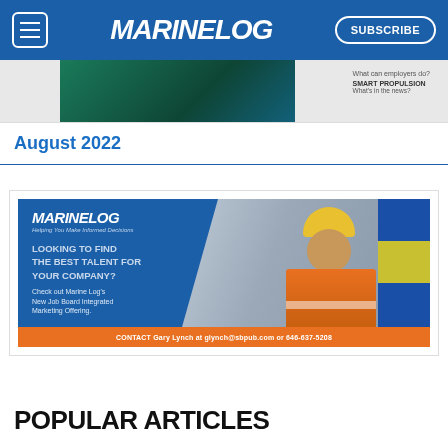MARINELOG | SUBSCRIBE
[Figure (screenshot): Partial banner image showing green textured background with text 'What can employers do?' and 'SMART PROPULSION What's in the news?']
August 2022
[Figure (illustration): Marine Log advertisement: LOOKING TO FIND THE BEST TALENT FOR YOUR COMPANY? Check out Marine Log's New Job Board Integrated Marketing Offering. CONTACT Gary Lynch at glynch@sbpub.com or 646-637-5208. Shows worker in orange safety vest and yellow hard hat.]
POPULAR ARTICLES